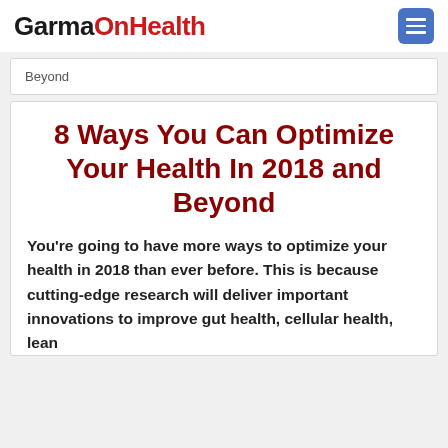GarmaOnHealth
Beyond
8 Ways You Can Optimize Your Health In 2018 and Beyond
You're going to have more ways to optimize your health in 2018 than ever before. This is because cutting-edge research will deliver important innovations to improve gut health, cellular health, lean